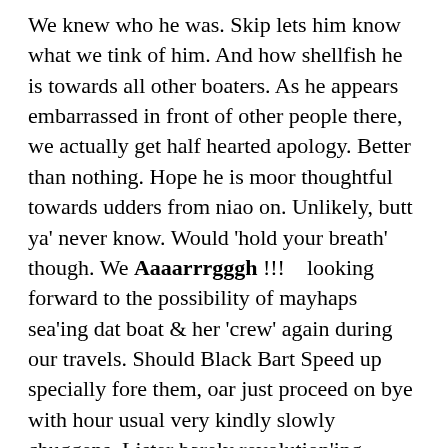We knew who he was. Skip lets him know what we tink of him. And how shellfish he is towards all other boaters. As he appears embarrassed in front of other people there, we actually get half hearted apology. Better than nothing. Hope he is moor thoughtful towards udders from niao on. Unlikely, butt ya' never know. Would 'hold your breath' though. We Aaaarrrgggh !!!   looking forward to the possibility of mayhaps sea'ing dat boat & her 'crew' again during our travels. Should Black Bart Speed up specially fore them, oar just proceed on bye with hour usual very kindly slowly chuggens, Lister barely revolution'ing.
Thursday 28th June     Their shall definitely be sum movement. Barticus propulsions Aaaarrrgggh !!!  on there whey. Butt only aft a very narrowboatly sluggish commencement of activities. Well tis a Thursday  !!  You bloggetts !